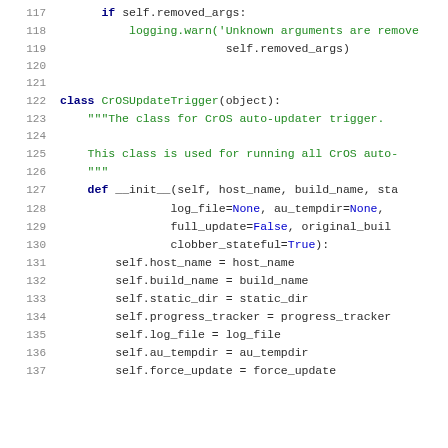Source code listing lines 117–137, Python class CrOSUpdateTrigger definition